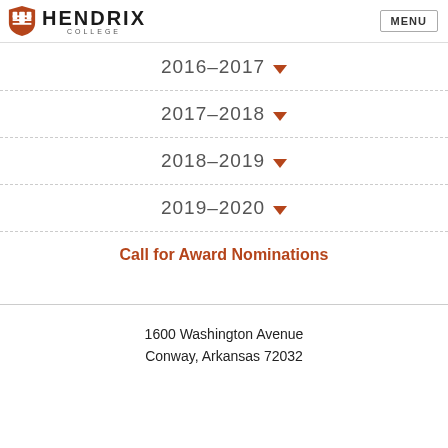Hendrix College | MENU
2016–2017
2017–2018
2018–2019
2019–2020
Call for Award Nominations
1600 Washington Avenue
Conway, Arkansas 72032